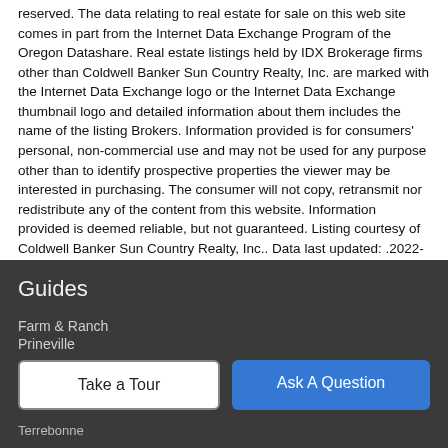reserved. The data relating to real estate for sale on this web site comes in part from the Internet Data Exchange Program of the Oregon Datashare. Real estate listings held by IDX Brokerage firms other than Coldwell Banker Sun Country Realty, Inc. are marked with the Internet Data Exchange logo or the Internet Data Exchange thumbnail logo and detailed information about them includes the name of the listing Brokers. Information provided is for consumers' personal, non-commercial use and may not be used for any purpose other than to identify prospective properties the viewer may be interested in purchasing. The consumer will not copy, retransmit nor redistribute any of the content from this website. Information provided is deemed reliable, but not guaranteed. Listing courtesy of Coldwell Banker Sun Country Realty, Inc.. Data last updated: .2022-08-24T09:46:20.44
Guides
Farm & Ranch
Prineville
Terrebonne